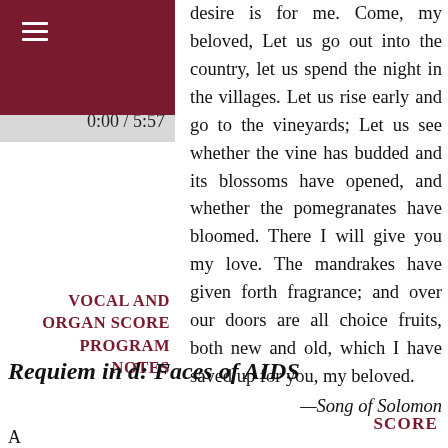[Figure (screenshot): Dark red navigation bar with hamburger menu icon in top-left corner, and a gray timer bar showing 0:00 / 5:57]
VOCAL AND ORGAN SCORE PROGRAM NOTES
desire is for me. Come, my beloved, Let us go out into the country, let us spend the night in the villages. Let us rise early and go to the vineyards; Let us see whether the vine has budded and its blossoms have opened, and whether the pomegranates have bloomed. There I will give you my love. The mandrakes have given forth fragrance; and over our doors are all choice fruits, both new and old, which I have saved up for you, my beloved. —Song of Solomon
Requiem in d: Faces of AIDS
SCORE
A